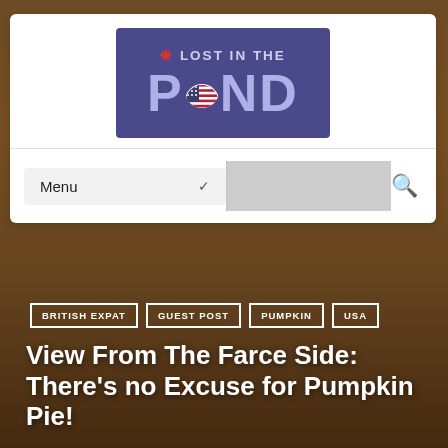[Figure (logo): Lost in the Pond logo — dark purple/indigo rectangle with text 'LOST IN THE POND' where the O contains a US flag globe and there is a maple leaf above the L]
Menu
BRITISH EXPAT
GUEST POST
PUMPKIN
USA
View From The Farce Side: There's no Excuse for Pumpkin Pie!